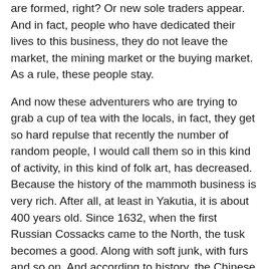are formed, right? Or new sole traders appear. And in fact, people who have dedicated their lives to this business, they do not leave the market, the mining market or the buying market. As a rule, these people stay.
And now these adventurers who are trying to grab a cup of tea with the locals, in fact, they get so hard repulse that recently the number of random people, I would call them so in this kind of activity, in this kind of folk art, has decreased. Because the history of the mammoth business is very rich. After all, at least in Yakutia, it is about 400 years old. Since 1632, when the first Russian Cossacks came to the North, the tusk becomes a good. Along with soft junk, with furs and so on. And according to history, the Chinese came over the tusk in the first century and, at least, there is documented evidence – in the 11th century, so the material was exported to China. But since the 17th